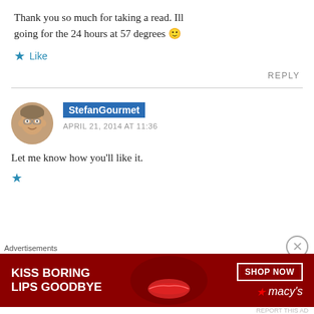Thank you so much for taking a read. Ill going for the 24 hours at 57 degrees 🙂
★ Like
REPLY
StefanGourmet
APRIL 21, 2014 AT 11:36
Let me know how you'll like it.
[Figure (other): Advertisement banner: Kiss Boring Lips Goodbye – Shop Now – Macy's, with close button]
Advertisements
REPORT THIS AD